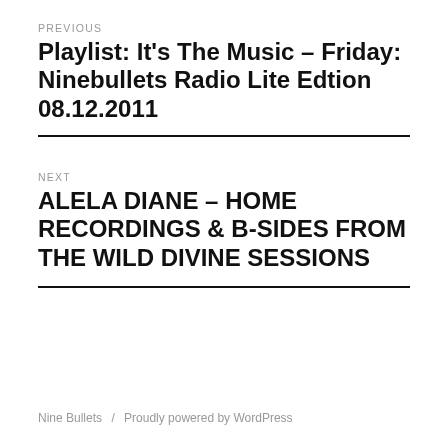PREVIOUS
Playlist: It's The Music – Friday: Ninebullets Radio Lite Edtion 08.12.2011
NEXT
ALELA DIANE – HOME RECORDINGS & B-SIDES FROM THE WILD DIVINE SESSIONS
Nine Bullets / Proudly powered by WordPress